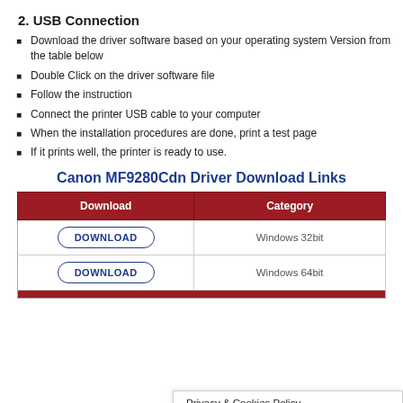2. USB Connection
Download the driver software based on your operating system Version from the table below
Double Click on the driver software file
Follow the instruction
Connect the printer USB cable to your computer
When the installation procedures are done, print a test page
If it prints well, the printer is ready to use.
Canon MF9280Cdn Driver Download Links
| Download | Category |
| --- | --- |
| DOWNLOAD | Windows 32bit |
| DOWNLOAD | Windows 64bit |
|  |  |
Privacy & Cookies Policy